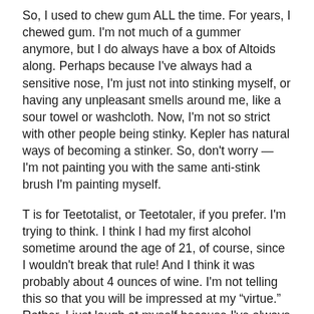So, I used to chew gum ALL the time. For years, I chewed gum. I'm not much of a gummer anymore, but I do always have a box of Altoids along. Perhaps because I've always had a sensitive nose, I'm just not into stinking myself, or having any unpleasant smells around me, like a sour towel or washcloth. Now, I'm not so strict with other people being stinky. Kepler has natural ways of becoming a stinker. So, don't worry — I'm not painting you with the same anti-stink brush I'm painting myself.
T is for Teetotalist, or Teetotaler, if you prefer. I'm trying to think. I think I had my first alcohol sometime around the age of 21, of course, since I wouldn't break that rule! And I think it was probably about 4 ounces of wine. I'm not telling this so that you will be impressed at my "virtue." Rather, I just laugh at myself because I've always been so careful to follow the rules. Like right now, I actually don't drink any alcohol because I take a medication that shouldn't be taken with alcohol. I really don't get the